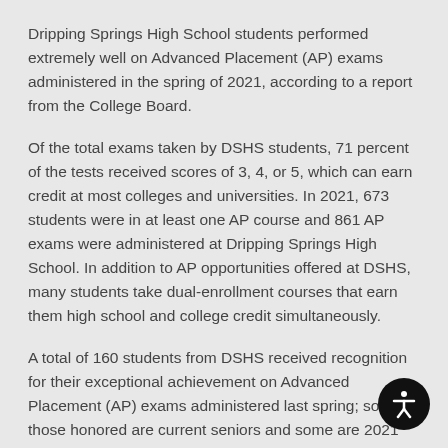Dripping Springs High School students performed extremely well on Advanced Placement (AP) exams administered in the spring of 2021, according to a report from the College Board.
Of the total exams taken by DSHS students, 71 percent of the tests received scores of 3, 4, or 5, which can earn credit at most colleges and universities. In 2021, 673 students were in at least one AP course and 861 AP exams were administered at Dripping Springs High School. In addition to AP opportunities offered at DSHS, many students take dual-enrollment courses that earn them high school and college credit simultaneously.
A total of 160 students from DSHS received recognition for their exceptional achievement on Advanced Placement (AP) exams administered last spring; some of those honored are current seniors and some are 2021